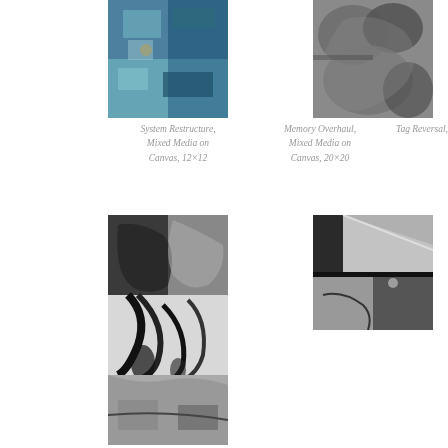[Figure (photo): Abstract blue and teal mixed media artwork with rectangular patches on canvas]
[Figure (photo): Grayscale photo of rocky texture, close-up]
System Restructure, Mixed Media on Canvas, 12×12
Memory Overhaul, Mixed Media on Canvas, 20×20
Tag Reversal, Digital
[Figure (photo): Large grayscale mixed media artwork with dark organic branch-like forms on light background, collage style]
[Figure (photo): Grayscale photo split into two panels showing abstract light and geometric shapes]